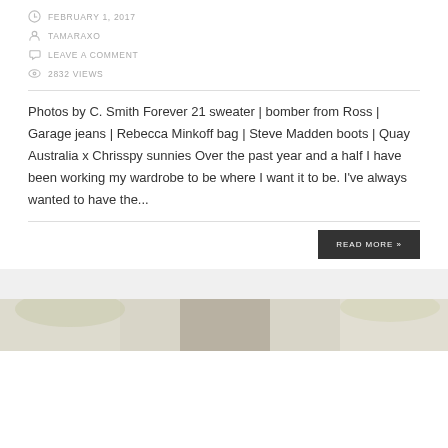FEBRUARY 1, 2017
TAMARAXO
LEAVE A COMMENT
2832 VIEWS
Photos by C. Smith Forever 21 sweater | bomber from Ross | Garage jeans | Rebecca Minkoff bag | Steve Madden boots | Quay Australia x Chrisspy sunnies Over the past year and a half I have been working my wardrobe to be where I want it to be. I've always wanted to have the...
READ MORE »
[Figure (photo): Bottom strip showing beginning of a photo with outdoor/nature background]